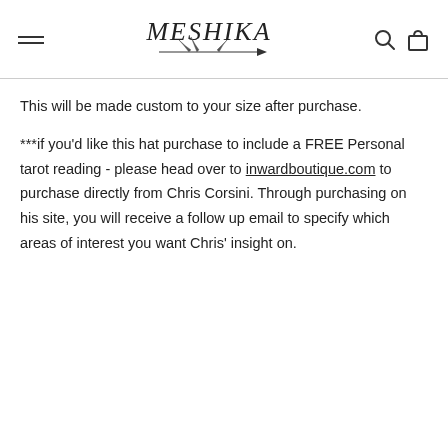MESHIKA [logo with hamburger menu, search and bag icons]
This will be made custom to your size after purchase.
***if you'd like this hat purchase to include a FREE Personal tarot reading - please head over to inwardboutique.com to purchase directly from Chris Corsini. Through purchasing on his site, you will receive a follow up email to specify which areas of interest you want Chris' insight on.